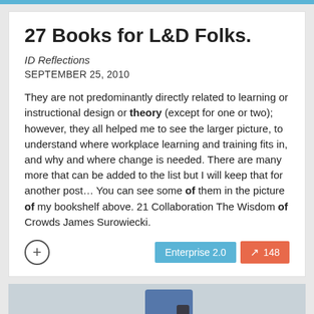27 Books for L&D Folks.
ID Reflections
SEPTEMBER 25, 2010
They are not predominantly directly related to learning or instructional design or theory (except for one or two); however, they all helped me to see the larger picture, to understand where workplace learning and training fits in, and why and where change is needed. There are many more that can be added to the list but I will keep that for another post… You can see some of them in the picture of my bookshelf above. 21 Collaboration The Wisdom of Crowds James Surowiecki.
[Figure (photo): Photo of a person carrying a briefcase, cropped to show lower body and hand holding a brown leather bag, person wearing dark pants and blue top]